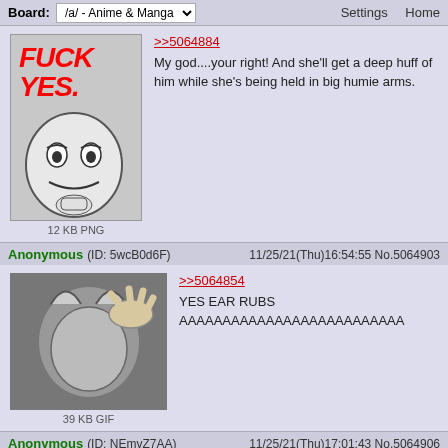Board: /a/ - Anime & Manga | Settings | Home
[Figure (screenshot): Imageboard thread screenshot with meme images and posts]
>>5064884
My god....your right! And she'll get a deep huff of him while she's being held in big humie arms.
12 KB PNG
Anonymous (ID: 5wcB0d6F) 11/25/21(Thu)16:54:55 No.5064903
>>5064854
YES EAR RUBS
AAAAAAAAAAAAAAAAAAAAAAAAAAAA
39 KB GIF
Anonymous (ID: NEmvZ7AA) 11/25/21(Thu)17:01:43 No.5064906
>>5064903
Her tail will betray how happy she'll feel. Then that tail will be rubbed too.
Anonymous (ID: zBEa7I1d) 11/25/21(Thu)21:36:05 No.5065052